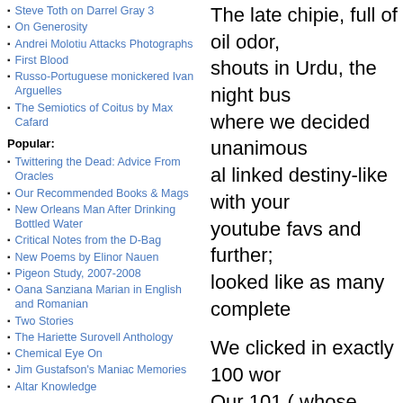Steve Toth on Darrel Gray 3
On Generosity
Andrei Molotiu Attacks Photographs
First Blood
Russo-Portuguese monickered Ivan Arguelles
The Semiotics of Coitus by Max Cafard
Popular:
Twittering the Dead: Advice From Oracles
Our Recommended Books & Mags
New Orleans Man After Drinking Bottled Water
Critical Notes from the D-Bag
New Poems by Elinor Nauen
Pigeon Study, 2007-2008
Oana Sanziana Marian in English and Romanian
Two Stories
The Hariette Surovell Anthology
Chemical Eye On
Jim Gustafson's Maniac Memories
Altar Knowledge
The late chipie, full of oil odor, shouts in Urdu, the night bus where we decided unanimous al linked destiny-like with your youtube favs and further; looked like as many complete
We clicked in exactly 100 wor Our 101 ( whose exactly?) sh naked, like bouncers the odd iambic, decent, bowed silently then followed outside, howl m
A BOTTLE
I let it go. It makes no sound. Y picked it up, gave it a long twis bottle of juices, finishing its wa to bring us a drop, a very tiny where a woman lives.